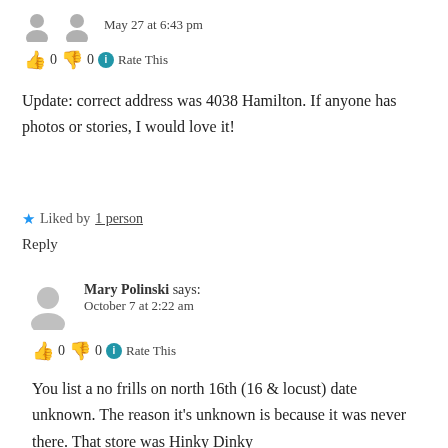May 27 at 6:43 pm
👍 0 👎 0 ℹ Rate This
Update: correct address was 4038 Hamilton. If anyone has photos or stories, I would love it!
★ Liked by 1 person
Reply
Mary Polinski says:
October 7 at 2:22 am
👍 0 👎 0 ℹ Rate This
You list a no frills on north 16th (16 & locust) date unknown. The reason it's unknown is because it was never there. That store was Hinky Dinky